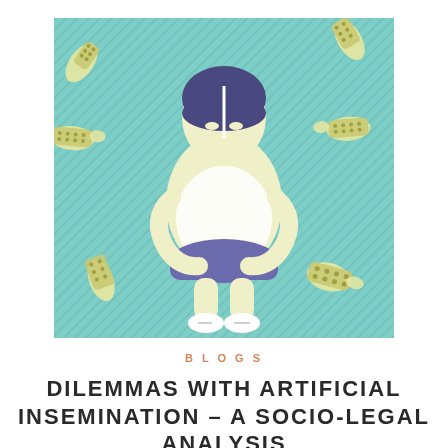[Figure (illustration): Illustration on a teal/mint diagonal-striped background showing a stylized pregnant woman figure in light yellow with a purple skirt and dark hair, her arms wrapped around her pregnant belly. Surrounding her from the edges are multiple hands (light yellow/cream) holding various pill blister packs and medication remote controls, pointing toward her from all directions.]
BLOGS
DILEMMAS WITH ARTIFICIAL INSEMINATION – A SOCIO-LEGAL ANALYSIS